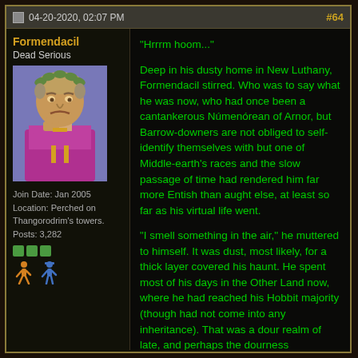04-20-2020, 02:07 PM  #64
Formendacil
Dead Serious
Join Date: Jan 2005
Location: Perched on Thangorodrim's towers.
Posts: 3,282
[Figure (illustration): Pixel art avatar of a Roman-style figure with laurel wreath, wearing a purple robe, looking thoughtful with hand near chin]
"Hrrrm hoom..."

Deep in his dusty home in New Luthany, Formendacil stirred. Who was to say what he was now, who had once been a cantankerous Númenórean of Arnor, but Barrow-downers are not obliged to self-identify themselves with but one of Middle-earth's races and the slow passage of time had rendered him far more Entish than aught else, at least so far as his virtual life went.

"I smell something in the air," he muttered to himself. It was dust, most likely, for a thick layer covered his haunt. He spent most of his days in the Other Land now, where he had reached his Hobbit majority (though had not come into any inheritance). That was a dour realm of late, and perhaps the dourness